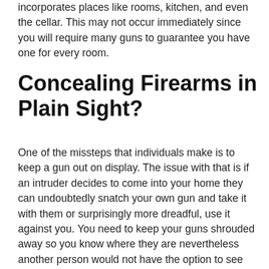incorporates places like rooms, kitchen, and even the cellar. This may not occur immediately since you will require many guns to guarantee you have one for every room.
Concealing Firearms in Plain Sight?
One of the missteps that individuals make is to keep a gun out on display. The issue with that is if an intruder decides to come into your home they can undoubtedly snatch your own gun and take it with them or surprisingly more dreadful, use it against you. You need to keep your guns shrouded away so you know where they are nevertheless another person would not have the option to see them without any problem. You likewise need to ensure that they are covered up so a child can't get